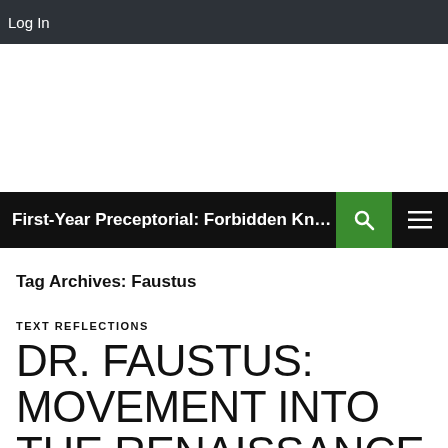Log In
First-Year Preceptorial: Forbidden Knowl...
Tag Archives: Faustus
TEXT REFLECTIONS
DR. FAUSTUS: MOVEMENT INTO THE RENAISSANCE